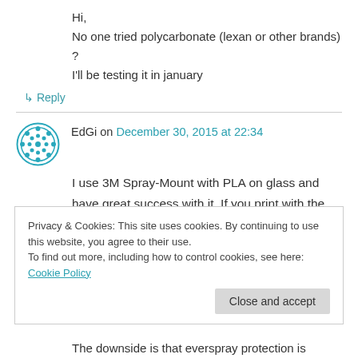Hi,
No one tried polycarbonate (lexan or other brands) ?
I'll be testing it in january
↳ Reply
EdGi on December 30, 2015 at 22:34
I use 3M Spray-Mount with PLA on glass and have great success with it. If you print with the
Privacy & Cookies: This site uses cookies. By continuing to use this website, you agree to their use.
To find out more, including how to control cookies, see here: Cookie Policy
Close and accept
The downside is that everspray protection is